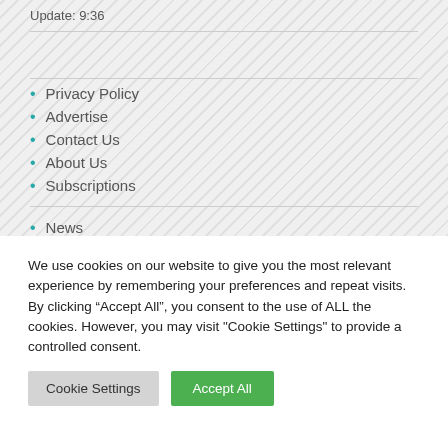Update: 9:36
Privacy Policy
Advertise
Contact Us
About Us
Subscriptions
News
We use cookies on our website to give you the most relevant experience by remembering your preferences and repeat visits. By clicking “Accept All”, you consent to the use of ALL the cookies. However, you may visit "Cookie Settings" to provide a controlled consent.